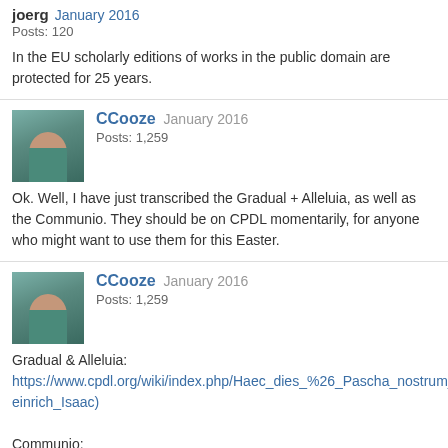joerg  January 2016
Posts: 120
In the EU scholarly editions of works in the public domain are protected for 25 years.
[Figure (photo): Avatar photo of CCooze user]
CCooze  January 2016
Posts: 1,259
Ok. Well, I have just transcribed the Gradual + Alleluia, as well as the Communio. They should be on CPDL momentarily, for anyone who might want to use them for this Easter.
[Figure (photo): Avatar photo of CCooze user]
CCooze  January 2016
Posts: 1,259
Gradual & Alleluia:
https://www.cpdl.org/wiki/index.php/Haec_dies_%26_Pascha_nostrum_(Heinrich_Isaac)

Communio:
https://www.cpdl.org/wiki/index.php/Pascha_nostrum_(Heinrich_Isaac)
[Figure (photo): Avatar photo of CCooze user]
CCooze  January 2016
Posts: 1,259